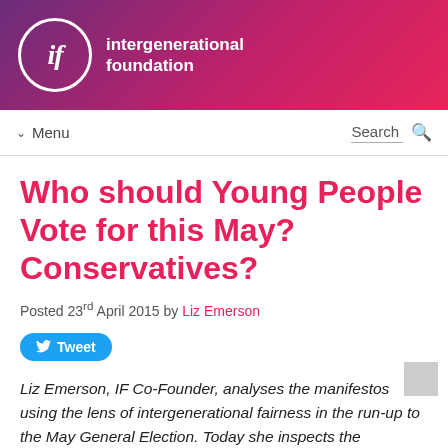intergenerational foundation
Menu   Search
Who should Young People Vote for this May? Conservatives?
Posted 23rd April 2015 by Liz Emerson
Tweet
Liz Emerson, IF Co-Founder, analyses the manifestos using the lens of intergenerational fairness in the run-up to the May General Election. Today she inspects the Conservatives